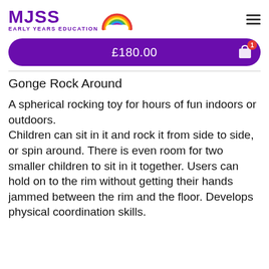[Figure (logo): MJSS Early Years Education logo with rainbow arc graphic]
£180.00
Gonge Rock Around
A spherical rocking toy for hours of fun indoors or outdoors. Children can sit in it and rock it from side to side, or spin around. There is even room for two smaller children to sit in it together. Users can hold on to the rim without getting their hands jammed between the rim and the floor. Develops physical coordination skills.